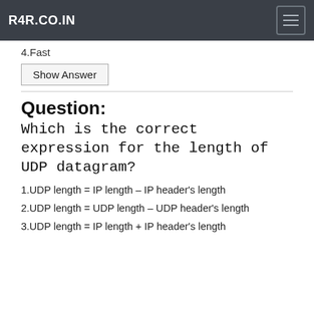R4R.CO.IN
4.Fast
Show Answer
Question:
Which is the correct expression for the length of UDP datagram?
1.UDP length = IP length – IP header's length
2.UDP length = UDP length – UDP header's length
3.UDP length = IP length + IP header's length